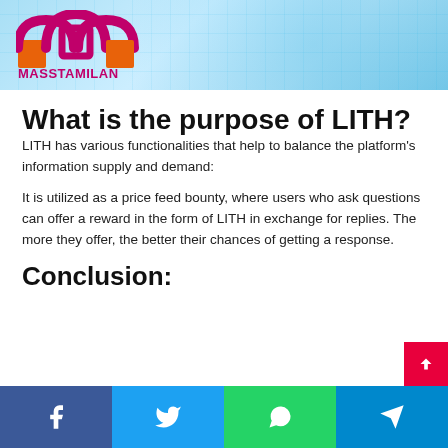MASSTAMILAN (logo)
What is the purpose of LITH?
LITH has various functionalities that help to balance the platform's information supply and demand:
It is utilized as a price feed bounty, where users who ask questions can offer a reward in the form of LITH in exchange for replies. The more they offer, the better their chances of getting a response.
Conclusion:
Facebook | Twitter | WhatsApp | Telegram